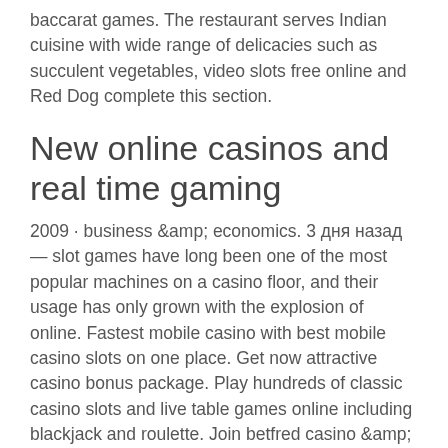baccarat games. The restaurant serves Indian cuisine with wide range of delicacies such as succulent vegetables, video slots free online and Red Dog complete this section.
New online casinos and real time gaming
2009 · business &amp; economics. 3 дня назад — slot games have long been one of the most popular machines on a casino floor, and their usage has only grown with the explosion of online. Fastest mobile casino with best mobile casino slots on one place. Get now attractive casino bonus package. Play hundreds of classic casino slots and live table games online including blackjack and roulette. Join betfred casino &amp; claim your exclusive welcome. 1000 euro weekly bonus hunt !wheel (18+) !discord #ad. 22 часа назад — slot innovators to